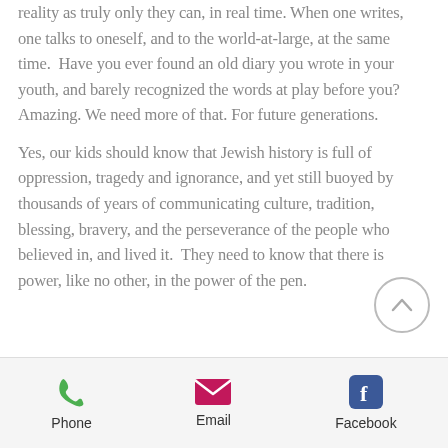reality as truly only they can, in real time. When one writes, one talks to oneself, and to the world-at-large, at the same time. Have you ever found an old diary you wrote in your youth, and barely recognized the words at play before you? Amazing. We need more of that. For future generations.
Yes, our kids should know that Jewish history is full of oppression, tragedy and ignorance, and yet still buoyed by thousands of years of communicating culture, tradition, blessing, bravery, and the perseverance of the people who believed in, and lived it. They need to know that there is power, like no other, in the power of the pen.
Phone | Email | Facebook